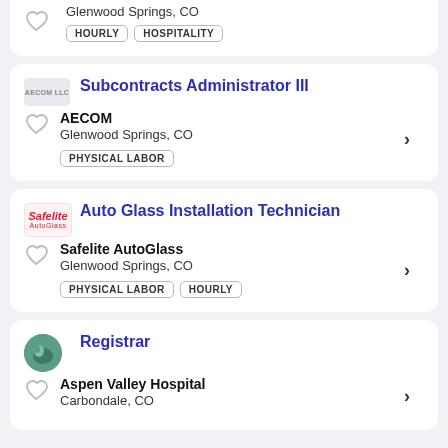Glenwood Springs, CO — HOURLY, HOSPITALITY (partial card top)
Subcontracts Administrator III — AECOM — Glenwood Springs, CO — PHYSICAL LABOR
Auto Glass Installation Technician — Safelite AutoGlass — Glenwood Springs, CO — PHYSICAL LABOR, HOURLY
Registrar — Aspen Valley Hospital — Carbondale, CO